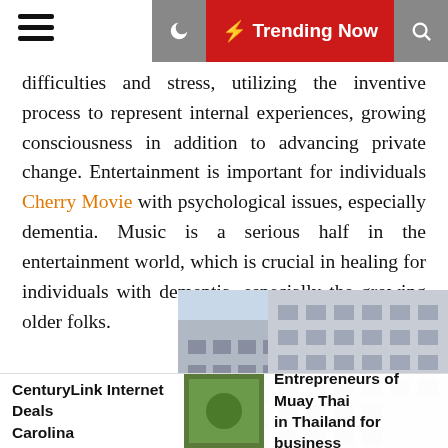☰  🌙  ⚡ Trending Now  🔍
difficulties and stress, utilizing the inventive process to represent internal experiences, growing consciousness in addition to advancing private change. Entertainment is important for individuals Cherry Movie with psychological issues, especially dementia. Music is a serious half in the entertainment world, which is crucial in healing for individuals with dementia, especially the growing older folks.
[Figure (photo): Urban street art — colorful diamond-pattern mural installation in front of tall city office buildings]
CenturyLink Internet Deals Carolina  |  [thumbnail]  |  Entrepreneurs of Muay Thai in Thailand for business